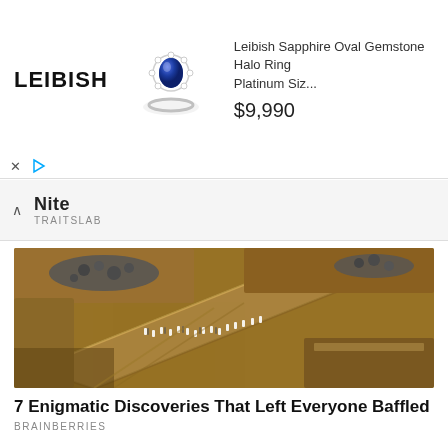[Figure (screenshot): Advertisement banner for Leibish jewelry showing sapphire oval gemstone halo ring, logo text LEIBISH, product title 'Leibish Sapphire Oval Gemstone Halo Ring Platinum Siz...' and price $9,990, with X and play controls below]
Nite
TRAITSLAB
[Figure (photo): Aerial view of ancient Egyptian archaeological site showing large stone obelisk or monument being excavated, with small human figures visible on walkways between massive sandstone rocks and carved formations]
7 Enigmatic Discoveries That Left Everyone Baffled
BRAINBERRIES